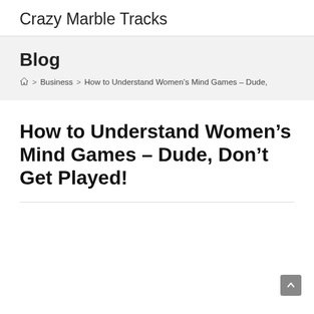Crazy Marble Tracks
Blog
Home > Business > How to Understand Women's Mind Games – Dude,
How to Understand Women's Mind Games – Dude, Don't Get Played!